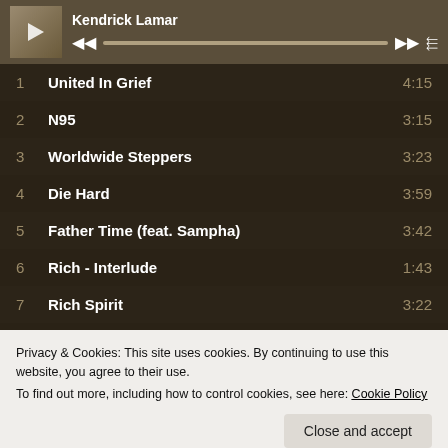Kendrick Lamar
1  United In Grief  4:15
2  N95  3:15
3  Worldwide Steppers  3:23
4  Die Hard  3:59
5  Father Time (feat. Sampha)  3:42
6  Rich - Interlude  1:43
7  Rich Spirit  3:22
8  We Cry Together  5:41
Privacy & Cookies: This site uses cookies. By continuing to use this website, you agree to their use.
To find out more, including how to control cookies, see here: Cookie Policy
Close and accept